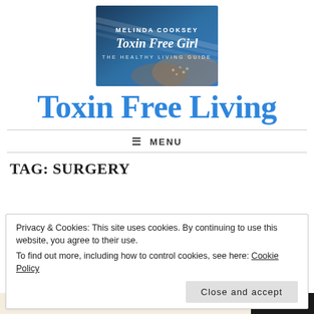[Figure (logo): Toxin Free Girl blog logo with 'MELINDA COOKSEY - Toxin Free Girl - THE HEALTHY LIVING GUIDE' text over a blue-toned image of hands holding grain/seeds]
Toxin Free Living
≡ MENU
TAG: SURGERY
Privacy & Cookies: This site uses cookies. By continuing to use this website, you agree to their use.
To find out more, including how to control cookies, see here: Cookie Policy
Close and accept